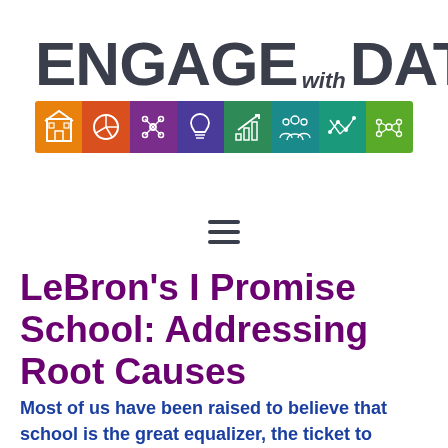[Figure (logo): Engage with Data logo with colored icon bar showing various data/education icons]
[Figure (other): Hamburger menu icon (three horizontal lines)]
LeBron's I Promise School: Addressing Root Causes
Most of us have been raised to believe that school is the great equalizer, the ticket to success in life, or the escape from the